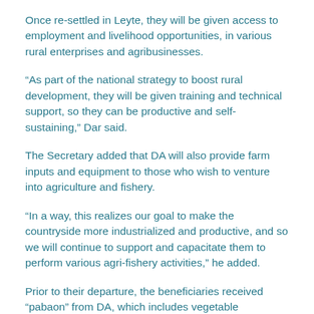Once re-settled in Leyte, they will be given access to employment and livelihood opportunities, in various rural enterprises and agribusinesses.
“As part of the national strategy to boost rural development, they will be given training and technical support, so they can be productive and self-sustaining,” Dar said.
The Secretary added that DA will also provide farm inputs and equipment to those who wish to venture into agriculture and fishery.
“In a way, this realizes our goal to make the countryside more industrialized and productive, and so we will continue to support and capacitate them to perform various agri-fishery activities,” he added.
Prior to their departure, the beneficiaries received “pabaon” from DA, which includes vegetable gardening starter kit composed of assorted vegetable seeds, seedling